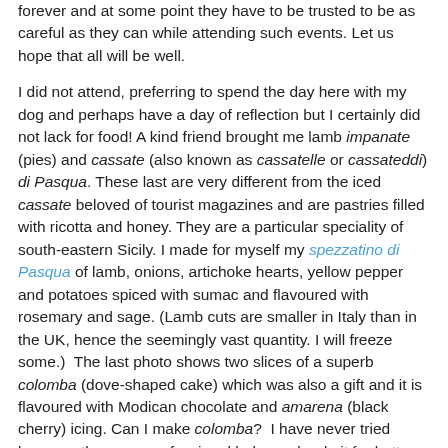forever and at some point they have to be trusted to be as careful as they can while attending such events. Let us hope that all will be well.
I did not attend, preferring to spend the day here with my dog and perhaps have a day of reflection but I certainly did not lack for food! A kind friend brought me lamb impanate (pies) and cassate (also known as cassatelle or cassateddi) di Pasqua. These last are very different from the iced cassate beloved of tourist magazines and are pastries filled with ricotta and honey. They are a particular speciality of south-eastern Sicily. I made for myself my spezzatino di Pasqua of lamb, onions, artichoke hearts, yellow pepper and potatoes spiced with sumac and flavoured with rosemary and sage. (Lamb cuts are smaller in Italy than in the UK, hence the seemingly vast quantity. I will freeze some.)  The last photo shows two slices of a superb colomba (dove-shaped cake) which was also a gift and it is flavoured with Modican chocolate and amarena (black cherry) icing. Can I make colomba?  I have never tried because there are professional bakers who do it far better than I ever could and have space and equipment for the long, natural rising required, as with